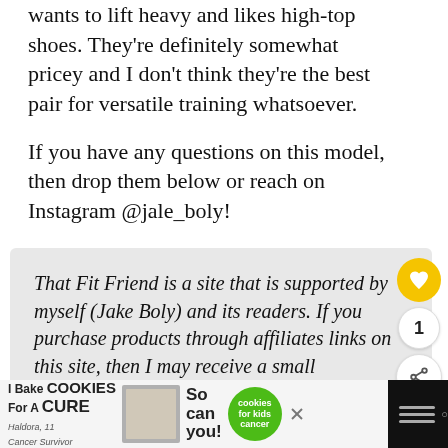wants to lift heavy and likes high-top shoes. They're definitely somewhat pricey and I don't think they're the best pair for versatile training whatsoever.
If you have any questions on this model, then drop them below or reach on Instagram @jale_boly!
That Fit Friend is a site that is supported by myself (Jake Boly) and its readers. If you purchase products through affiliates links on this site, then I may receive a small commission on the sale. These commissions help keep the lights on here at That Fit Friend, so I can continue to create content and help me purchase new models to review!
[Figure (screenshot): Advertisement banner: 'I Bake COOKIES For A CURE - Haldora, 11 Cancer Survivor - So can you! - cookies for kids cancer']